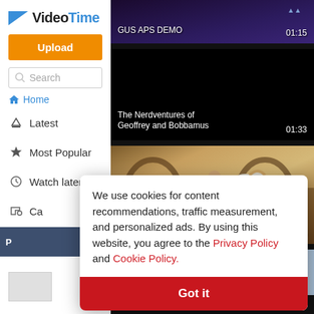[Figure (screenshot): VideoTime app logo with blue triangle and text 'Video' in black and 'Time' in blue]
[Figure (screenshot): Orange Upload button]
[Figure (screenshot): Search input box with magnifier icon placeholder text 'Search']
[Figure (screenshot): Home navigation link with house icon]
Latest
Most Popular
Watch later
Ca[tegories - partial]
[Figure (screenshot): Video thumbnail: GUS APS DEMO, duration 01:15, dark purple background]
[Figure (screenshot): Video thumbnail: The Nerdventures of Geoffrey and Bobbamus, duration 01:33, black background]
[Figure (screenshot): Video thumbnail: Tangled - Kingdom Dance [HD], duration 02:55, animated castle scene with horse and character]
[Figure (screenshot): Partial bottom thumbnail showing colorful animated characters]
We use cookies for content recommendations, traffic measurement, and personalized ads. By using this website, you agree to the Privacy Policy and Cookie Policy.
[Figure (screenshot): Got it button - red background, white bold text]